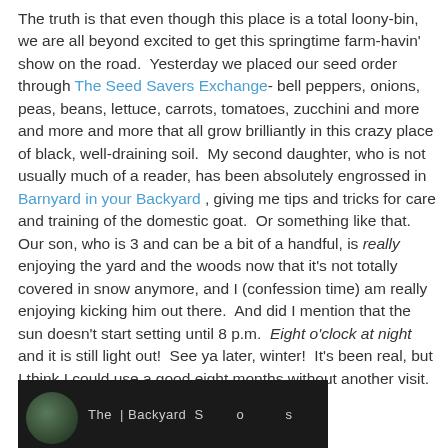The truth is that even though this place is a total loony-bin, we are all beyond excited to get this springtime farm-havin' show on the road.  Yesterday we placed our seed order through The Seed Savers Exchange- bell peppers, onions, peas, beans, lettuce, carrots, tomatoes, zucchini and more and more and more that all grow brilliantly in this crazy place of black, well-draining soil.  My second daughter, who is not usually much of a reader, has been absolutely engrossed in Barnyard in your Backyard , giving me tips and tricks for care and training of the domestic goat.  Or something like that.  Our son, who is 3 and can be a bit of a handful, is really enjoying the yard and the woods now that it's not totally covered in snow anymore, and I (confession time) am really enjoying kicking him out there.  And did I mention that the sun doesn't start setting until 8 p.m.  Eight o'clock at night and it is still light out!  See ya later, winter!  It's been real, but I think I could use a good eight months without another visit.  Can that be arranged?
[Figure (photo): Dark image showing a circular portrait photo on the left side and text caption on the bottom, appears to be a blog/website screenshot element]